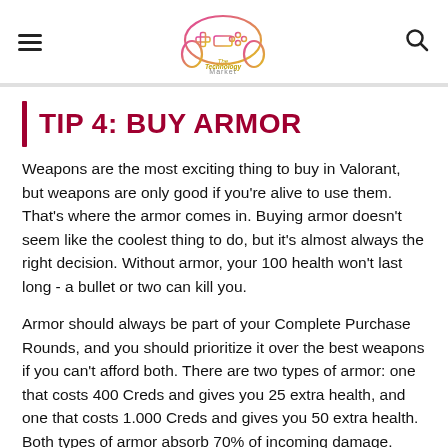The Technology Market
TIP 4: BUY ARMOR
Weapons are the most exciting thing to buy in Valorant, but weapons are only good if you're alive to use them. That's where the armor comes in. Buying armor doesn't seem like the coolest thing to do, but it's almost always the right decision. Without armor, your 100 health won't last long - a bullet or two can kill you.
Armor should always be part of your Complete Purchase Rounds, and you should prioritize it over the best weapons if you can't afford both. There are two types of armor: one that costs 400 Creds and gives you 25 extra health, and one that costs 1.000 Creds and gives you 50 extra health. Both types of armor absorb 70% of incoming damage.